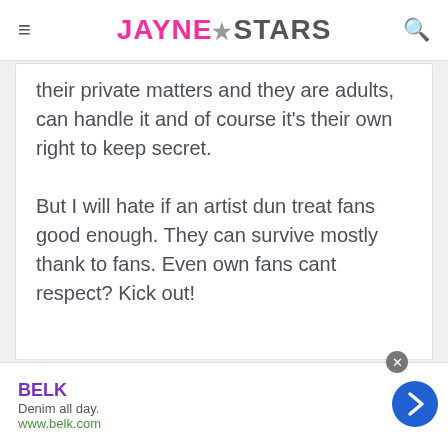JAYNE★STARS
their private matters and they are adults, can handle it and of course it's their own right to keep secret.

But I will hate if an artist dun treat fans good enough. They can survive mostly thank to fans. Even own fans cant respect? Kick out!
[Figure (screenshot): Advertisement banner for BELK with text 'Denim all day.' and URL www.belk.com, with a forward navigation arrow button]